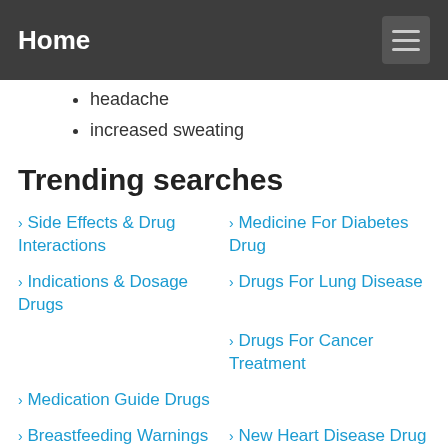Home
headache
increased sweating
Trending searches
Side Effects & Drug Interactions
Medicine For Diabetes Drug
Indications & Dosage Drugs
Drugs For Lung Disease
Drugs For Cancer Treatment
Medication Guide Drugs
Breastfeeding Warnings Drugs
New Heart Disease Drug
Cholesterol Drug Side Effects
Drug Side Effects Checker